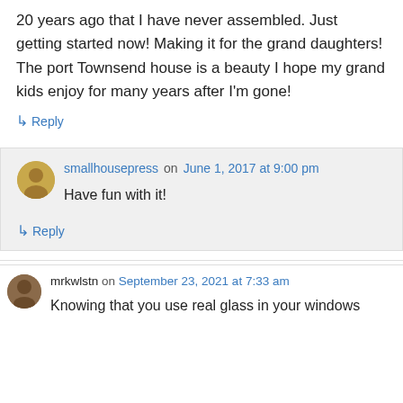20 years ago that I have never assembled. Just getting started now! Making it for the grand daughters! The port Townsend house is a beauty I hope my grand kids enjoy for many years after I'm gone!
↳ Reply
smallhousepress on June 1, 2017 at 9:00 pm
Have fun with it!
↳ Reply
mrkwlstn on September 23, 2021 at 7:33 am
Knowing that you use real glass in your windows